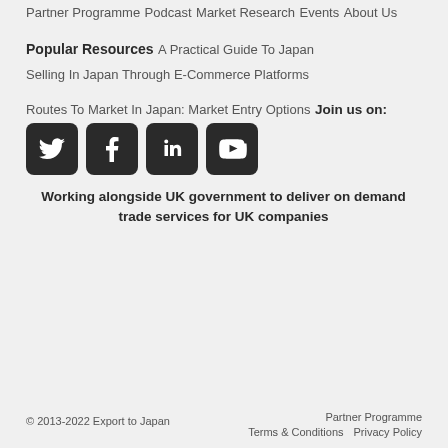Partner Programme
Podcast
Market Research
Events
About Us
Popular Resources
A Practical Guide To Japan
Selling In Japan Through E-Commerce Platforms
Routes To Market In Japan: Market Entry Options
Join us on:
[Figure (illustration): Four social media icons: Twitter (bird), Facebook (f), LinkedIn (in), YouTube (play button), all in dark rounded squares]
Working alongside UK government to deliver on demand trade services for UK companies
© 2013-2022 Export to Japan    Partner Programme    Terms & Conditions    Privacy Policy